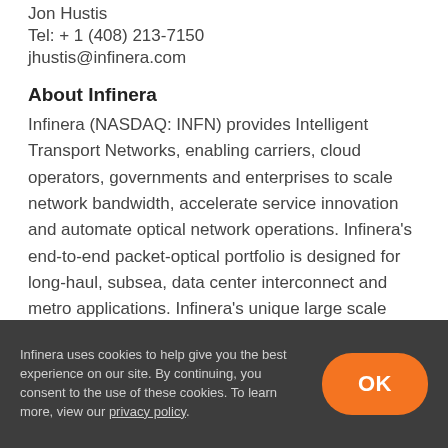Jon Hustis
Tel: + 1 (408) 213-7150
jhustis@infinera.com
About Infinera
Infinera (NASDAQ: INFN) provides Intelligent Transport Networks, enabling carriers, cloud operators, governments and enterprises to scale network bandwidth, accelerate service innovation and automate optical network operations. Infinera's end-to-end packet-optical portfolio is designed for long-haul, subsea, data center interconnect and metro applications. Infinera's unique large scale photonic integrated circuits enable innovative optical networking solutions for the most demanding
Infinera uses cookies to help give you the best experience on our site. By continuing, you consent to the use of these cookies. To learn more, view our privacy policy.